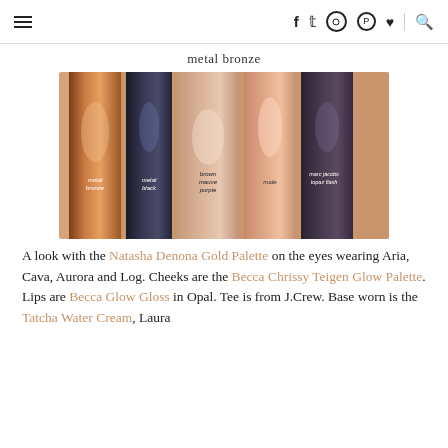≡  f  𝕥  ○  ⓟ  ♥  🔍
metal bronze
[Figure (photo): Eyeshadow swatches on skin showing five shades: metal bronze (copper shimmer), metal black (dark grey/black glitter), brown mauve purple, nude (peach shimmer), and marc jacobs topaz flash (dark shimmer). Labels written in white small text on each swatch.]
A look with the Natasha Denona Gold Palette on the eyes wearing Aria, Cava, Aurora and Log. Cheeks are the Becca Chrissy Teigen Glow Palette. Lips are Becca Glow Gloss in Opal. Tee is from J.Crew. Base worn is the Tatcha Water Cream, Laura